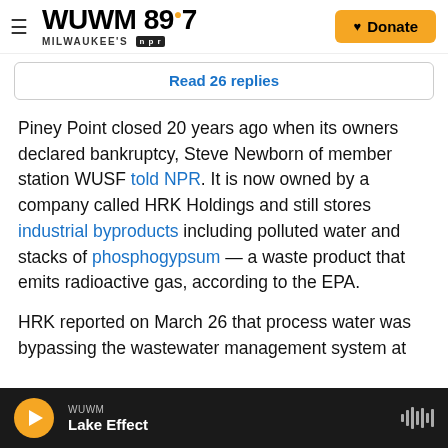WUWM 89.7 Milwaukee's NPR — Donate
Read 26 replies
Piney Point closed 20 years ago when its owners declared bankruptcy, Steve Newborn of member station WUSF told NPR. It is now owned by a company called HRK Holdings and still stores industrial byproducts including polluted water and stacks of phosphogypsum — a waste product that emits radioactive gas, according to the EPA.
HRK reported on March 26 that process water was bypassing the wastewater management system at
WUWM Lake Effect